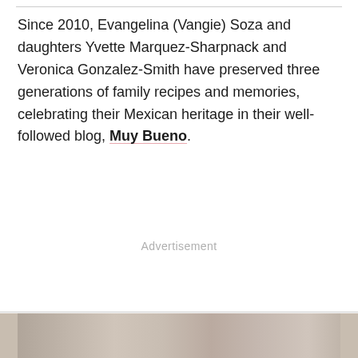Since 2010, Evangelina (Vangie) Soza and daughters Yvette Marquez-Sharpnack and Veronica Gonzalez-Smith have preserved three generations of family recipes and memories, celebrating their Mexican heritage in their well-followed blog, Muy Bueno.
Advertisement
[Figure (photo): Partial view of a photo at the bottom of the page, appears to show food or a scene related to the blog content]